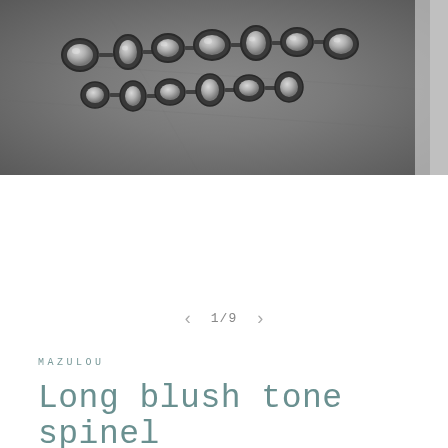[Figure (photo): Close-up photograph of silver/oxidized metal jewelry pieces — multiple small bezel-set stones in a necklace or bracelet, displayed against a dark gray leather or fabric background. The metal has a textured, granulated finish with rose-cut style stones set in oval and teardrop bezels connected by bars.]
1/9
MAZULOU
Long blush tone spinel drop earrings